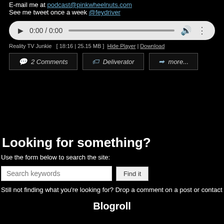E-mail me at podcast@pinkwheelnuts.com
See me tweet once a week @feydriver
[Figure (screenshot): Audio player widget showing 0:00 / 0:00 with play button, progress bar, volume and options icons]
Reality TV Junkie  [ 18:16 | 25.15 MB ]  Hide Player | Download
2 Comments  Deliverator  more...
Looking for something?
Use the form below to search the site:
Still not finding what you're looking for? Drop a comment on a post or contact us so w
Blogroll